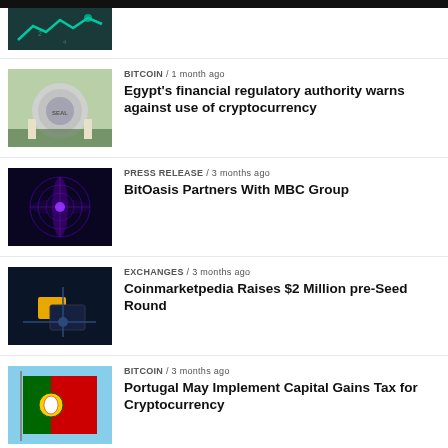[Figure (photo): Partial news thumbnail at top, teal/dark image with chart graphic]
[Figure (photo): Building exterior - Egyptian financial regulatory authority building]
BITCOIN / 1 month ago
Egypt's financial regulatory authority warns against use of cryptocurrency
[Figure (photo): Purple/blue circular radar or digital graphic]
PRESS RELEASE / 3 months ago
BitOasis Partners With MBC Group
[Figure (photo): Dark image with gold/yellow box and X shape - exchange graphic]
EXCHANGES / 3 months ago
Coinmarketpedia Raises $2 Million pre-Seed Round
[Figure (photo): Portuguese flag against blue sky]
BITCOIN / 3 months ago
Portugal May Implement Capital Gains Tax for Cryptocurrency
[Figure (photo): Partial thumbnail - dark image at bottom]
BITCOIN / 3 months ago
Partial headline cut off at bottom